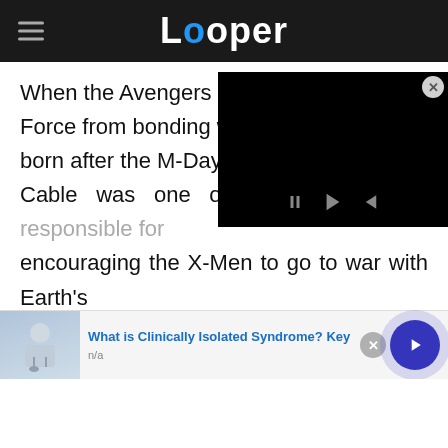Looper
When the Avengers sought to prevent the Phoenix Force from bonding with the first mutant baby born after the M-Day Devastation, Cable was one of the main figures responsible for encouraging the X-Men to go to war with Earth's Mightiest Heroes. After "Avengers vs X-Men" was over however, Cable eventually joined the second roster of the Avenger's Unity Squad in 2016's "Uncanny Avengers" #2 alongside his on-again-off-
[Figure (screenshot): Black video player overlay with playback controls]
[Figure (photo): Advertisement showing a doctor with stethoscope. Text: What is Clinically Isolated Syndrome? Key, n/a]